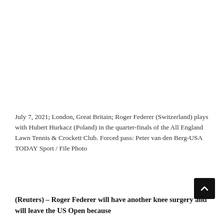[Figure (photo): Blank white area representing a photo placeholder at the top of the page]
July 7, 2021; London, Great Britain; Roger Federer (Switzerland) plays with Hubert Hurkacz (Poland) in the quarter-finals of the All England Lawn Tennis & Crockett Club. Forced pass: Peter van den Berg-USA TODAY Sport / File Photo
(Reuters) – Roger Federer will have another knee surgery and will leave the US Open because